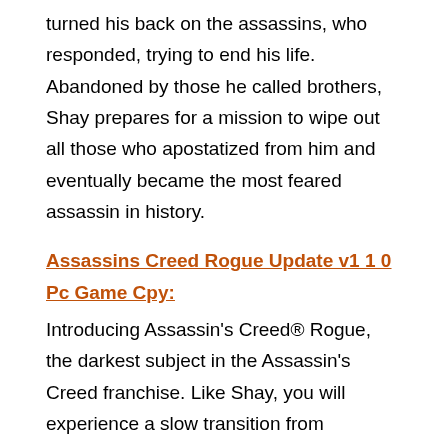turned his back on the assassins, who responded, trying to end his life. Abandoned by those he called brothers, Shay prepares for a mission to wipe out all those who apostatized from him and eventually became the most feared assassin in history.
Assassins Creed Rogue Update v1 1 0 Pc Game Cpy:
Introducing Assassin's Creed® Rogue, the darkest subject in the Assassin's Creed franchise. Like Shay, you will experience a slow transition from Assassin to Assassin Hunter. Follow your whims and make a unique journey to New York, a wild river valley and far away, in the ice of the North Atlantic, in search of your final destination – finally kill the Assassins. PC Game killer Black Flag full game for pc best push the game to download in parts. The game is based on historical times